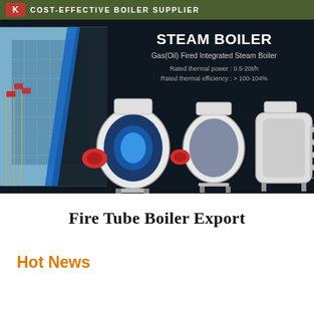COST-EFFECTIVE BOILER SUPPLIER
[Figure (photo): Steam boiler product banner showing dark background with three gas/oil fired integrated steam boilers. Text overlay reads: STEAM BOILER, Gas(Oil) Fired Integrated Steam Boiler, Rated thermal power: 0.5-20t/h, Rated thermal efficiency: >100-104%. Left side shows building exterior with flagpoles.]
Fire Tube Boiler Export
Hot News